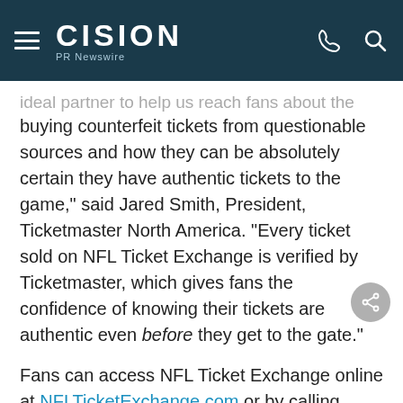CISION PR Newswire
ideal partner to help us reach fans about the risks of buying counterfeit tickets from questionable sources and how they can be absolutely certain they have authentic tickets to the game," said Jared Smith, President, Ticketmaster North America. "Every ticket sold on NFL Ticket Exchange is verified by Ticketmaster, which gives fans the confidence of knowing their tickets are authentic even before they get to the gate."
Fans can access NFL Ticket Exchange online at NFLTicketExchange.com or by calling (888) 635-5944. For more information, fans should follow NFL Ticket Exchange and Troy Aikman on Twitter at